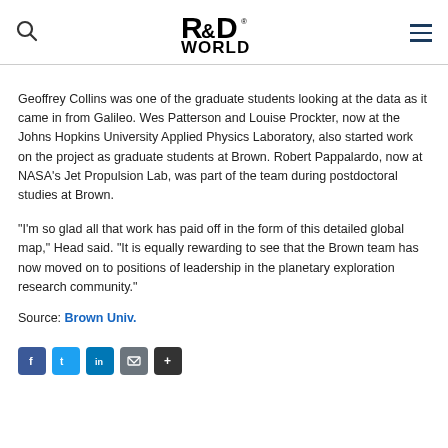R&D WORLD
Geoffrey Collins was one of the graduate students looking at the data as it came in from Galileo. Wes Patterson and Louise Prockter, now at the Johns Hopkins University Applied Physics Laboratory, also started work on the project as graduate students at Brown. Robert Pappalardo, now at NASA’s Jet Propulsion Lab, was part of the team during postdoctoral studies at Brown.
“I’m so glad all that work has paid off in the form of this detailed global map,” Head said. “It is equally rewarding to see that the Brown team has now moved on to positions of leadership in the planetary exploration research community.”
Source: Brown Univ.
[Figure (other): Social sharing icons: Facebook, Twitter, LinkedIn, Email, Share]